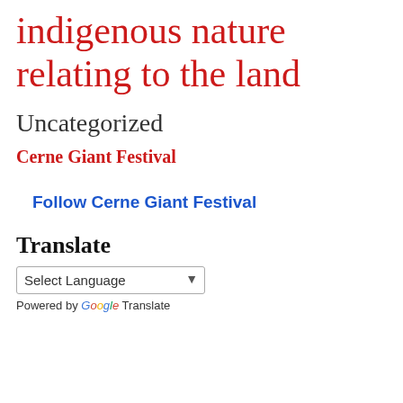indigenous nature relating to the land
Uncategorized
Cerne Giant Festival
Follow Cerne Giant Festival
Translate
Select Language
Powered by Google Translate